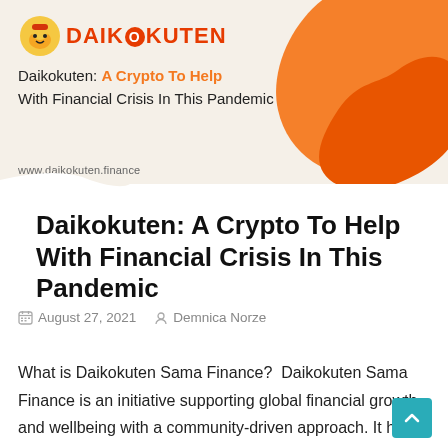[Figure (illustration): Daikokuten banner with logo, orange blob shape, subtitle text and website URL on a beige/cream background]
Daikokuten: A Crypto To Help With Financial Crisis In This Pandemic
August 27, 2021   Demnica Norze
What is Daikokuten Sama Finance?  Daikokuten Sama Finance is an initiative supporting global financial growth and wellbeing with a community-driven approach. It has aimed to empower each and everyone associated with it to be in control of their money and make progressive decisions for their future. With the